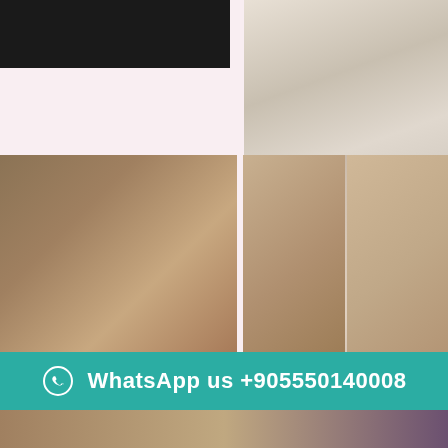[Figure (photo): Dark/black rectangular photo area at top left]
[Figure (photo): Photo of a person in white clothing at top right]
Escort Istanbul |+905411547500| Escorts Service in Istanbul
📍 Istanbul, Escorts in Istanbul
Istanbul escort |+905411547500| Escorts Service in Istanbul
📍 Istanbul, Escorts in Istanbul
[Figure (photo): Photo of a person wearing blue sunglasses]
[Figure (photo): Two photos of young women side by side]
WhatsApp us +905550140008
[Figure (photo): Bottom strip with partial photos]